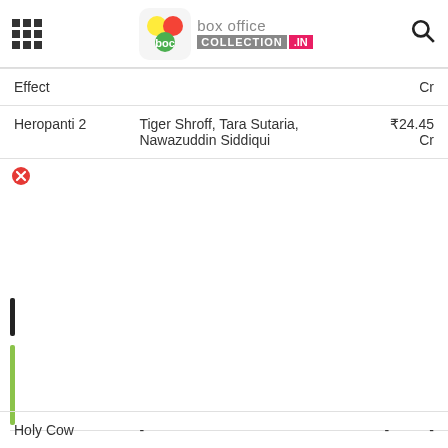Box Office Collection .IN
| Movie | Cast | Collection |
| --- | --- | --- |
| Effect |  | Cr |
| Heropanti 2 | Tiger Shroff, Tara Sutaria, Nawazuddin Siddiqui | ₹24.45 Cr |
[Figure (other): Red error/close icon (circle with X)]
| Movie |  | Cast |  |  |
| --- | --- | --- | --- | --- |
| Holy Cow | - |  | - | - |